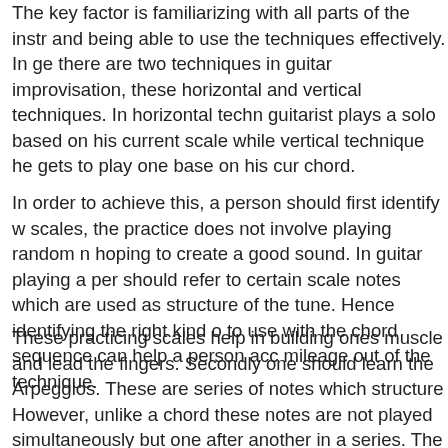The key factor is familiarizing with all parts of the instrument and being able to use the techniques effectively. In general, there are two techniques in guitar improvisation, these are horizontal and vertical techniques. In horizontal technique the guitarist plays a solo based on his current scale while in vertical technique he gets to play one base on his current chord.
In order to achieve this, a person should first identify with scales, the practice does not involve playing random notes hoping to create a good sound. In guitar playing a person should refer to certain scale notes which are used as the structure of the tune. Hence identifying the right kind of scale to use with the chord sequence can help a person acquire mileage out of the technique.
These practicing scales help in building ones muscle memory and lead the fingers. Secondly one should learn the Arpeggios. These are series of notes which structure a chord. However, unlike a chord these notes are not played simultaneously but one after another in a series. The Arpeggios are very important and one does not require a lot of effort to identify the notes.